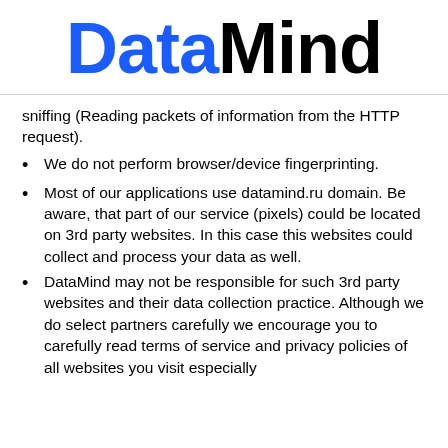DataMind
sniffing (Reading packets of information from the HTTP request).
We do not perform browser/device fingerprinting.
Most of our applications use datamind.ru domain. Be aware, that part of our service (pixels) could be located on 3rd party websites. In this case this websites could collect and process your data as well.
DataMind may not be responsible for such 3rd party websites and their data collection practice. Although we do select partners carefully we encourage you to carefully read terms of service and privacy policies of all websites you visit especially